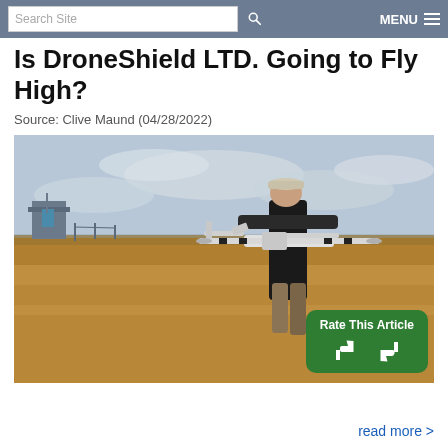Search Site   MENU
Is DroneShield LTD. Going to Fly High?
Source: Clive Maund (04/28/2022)
[Figure (photo): A person holding a fixed-wing drone/UAV in an open grassy field with a cloudy sky and a small building in the background. A green 'Rate This Article' button with thumbs up and thumbs down icons is overlaid on the bottom-right of the image.]
read more >